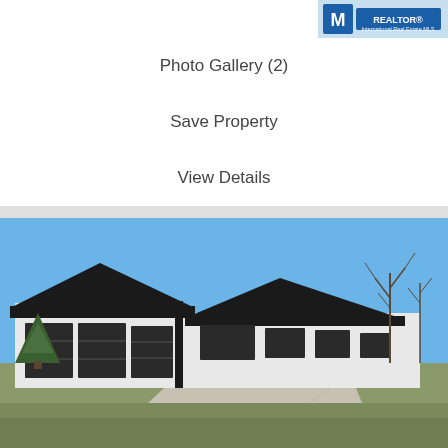[Figure (logo): Real estate company logo in top right corner]
Photo Gallery (2)
Save Property
View Details
[Figure (photo): Exterior photo of a white ranch-style house with black roof and triple garage doors, concrete driveway, clear blue sky, bare trees in background]